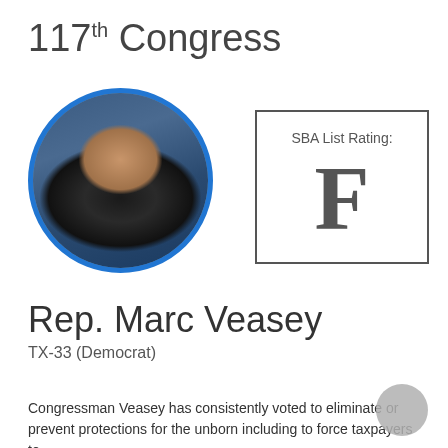117th Congress
[Figure (photo): Circular portrait photo of Rep. Marc Veasey with blue circular border]
[Figure (other): SBA List Rating box showing grade F]
Rep. Marc Veasey
TX-33 (Democrat)
Congressman Veasey has consistently voted to eliminate or prevent protections for the unborn including to force taxpayers to